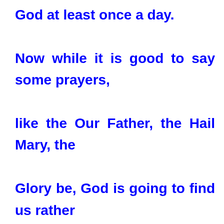God at least once a day. Now while it is good to say some prayers, like the Our Father, the Hail Mary, the Glory be, God is going to find us rather boring conversationalists if that is all we ever say. Just as parents like their children to tell them about their day, so God welcomes us to talk to him about all the things that concern us. After all, God